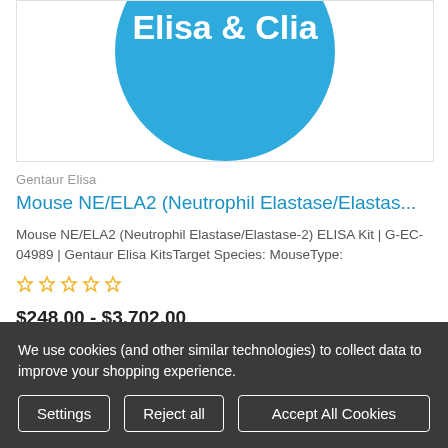[Figure (logo): Elisa & Clia circular logo with white text on blue background, partially visible at top]
Gentaur Elisa
Mouse NE/ELA2 (Neutrophil Elastase/Elastas...
Mouse NE/ELA2 (Neutrophil Elastase/Elastase-2) ELISA Kit | G-EC-04989 | Gentaur Elisa KitsTarget Species: MouseType:
[Figure (other): 5 empty star rating icons in yellow/gold outline]
$248.00 - $3,702.00
We use cookies (and other similar technologies) to collect data to improve your shopping experience.
Settings
Reject all
Accept All Cookies